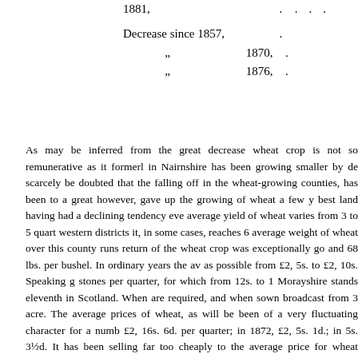| 1881, | . | . | . | . |
|  |  |  |  |  |
| Decrease since 1857, | . |  |  |  |
| " | 1870, | . |  |  |
| " | 1876, | . |  |  |
As may be inferred from the great decrease wheat crop is not so remunerative as it formerly in Nairnshire has been growing smaller by de scarcely be doubted that the falling off in the wheat-growing counties, has been to a great however, gave up the growing of wheat a few y best land having had a declining tendency eve average yield of wheat varies from 3 to 5 quart western districts it, in some cases, reaches 6 average weight of wheat over this county runs return of the wheat crop was exceptionally go and 68 lbs. per bushel. In ordinary years the av as possible from £2, 5s. to £2, 10s. Speaking g stones per quarter, for which from 12s. to 1 Morayshire stands eleventh in Scotland. When are required, and when sown broadcast from 3 acre. The average prices of wheat, as will be been of a very fluctuating character for a numb £2, 16s. 6d. per quarter; in 1872, £2, 5s. 1d.; in 5s. 3½d. It has been selling far too cheaply to the average price for wheat weighing 62 lbs. required per quarter in order to pay the cultiva many cases after grass, when a liberal supply